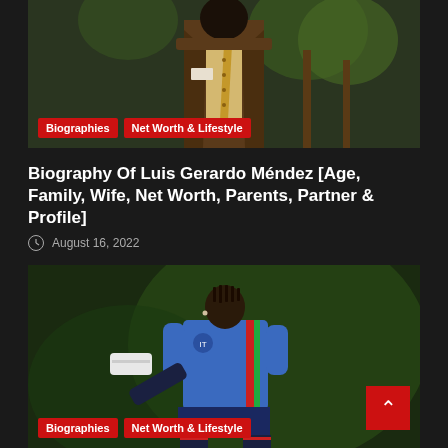[Figure (photo): Man in brown suit with yellow patterned tie standing in front of palm trees, with a name badge on his lapel]
Biographies | Net Worth & Lifestyle
Biography Of Luis Gerardo Méndez [Age, Family, Wife, Net Worth, Parents, Partner & Profile]
August 16, 2022
[Figure (photo): Young Black soccer player wearing blue Italy national team jersey, kicking with right leg raised high, wearing white cleats, with dark green blurred background]
Biographies | Net Worth & Lifestyle